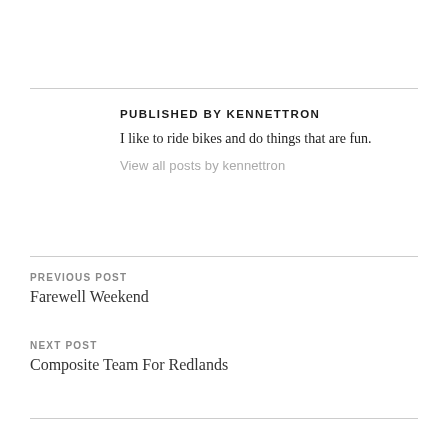PUBLISHED BY KENNETTRON
I like to ride bikes and do things that are fun.
View all posts by kennettron
PREVIOUS POST
Farewell Weekend
NEXT POST
Composite Team For Redlands